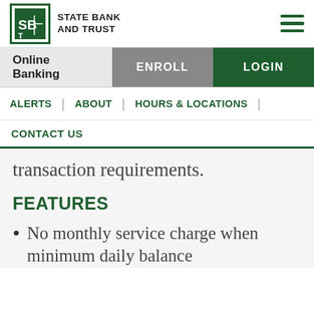STATE BANK AND TRUST
Online Banking  ENROLL  LOGIN
ALERTS | ABOUT | HOURS & LOCATIONS |
CONTACT US
transaction requirements.
FEATURES
No monthly service charge when minimum daily balance